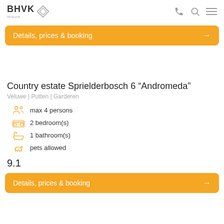BHVK leisure
Details, prices & booking →
Country estate Sprielderbosch 6 “Andromeda”
Veluwe | Putten | Garderen
max 4 persons
2 bedroom(s)
1 bathroom(s)
pets allowed
9.1
Details, prices & booking →